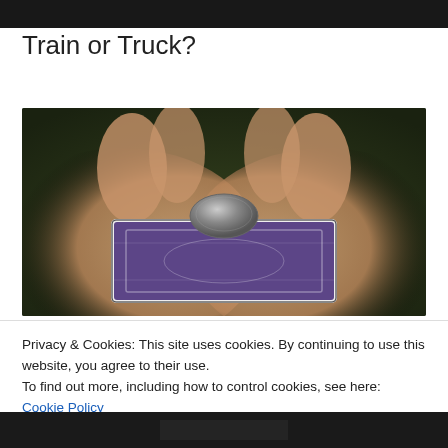[Figure (photo): Partial view of dark image at top of page]
Train or Truck?
[Figure (photo): Two hands holding a playing card (blue/purple ornate back design) with a coin balanced on top, against a dark green/brown background]
Privacy & Cookies: This site uses cookies. By continuing to use this website, you agree to their use.
To find out more, including how to control cookies, see here: Cookie Policy
Close and accept
[Figure (photo): Dark image strip at bottom of page, partially visible]